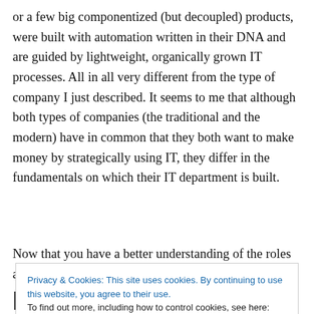or a few big componentized (but decoupled) products, were built with automation written in their DNA and are guided by lightweight, organically grown IT processes. All in all very different from the type of company I just described. It seems to me that although both types of companies (the traditional and the modern) have in common that they both want to make money by strategically using IT, they differ in the fundamentals on which their IT department is built.
Now that you have a better understanding of the roles and
Privacy & Cookies: This site uses cookies. By continuing to use this website, you agree to their use.
To find out more, including how to control cookies, see here: Cookie Policy
Close and accept
Problems